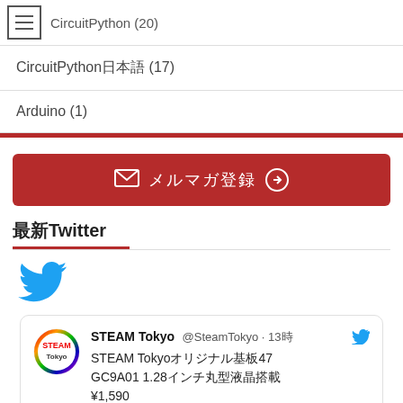CircuitPython (20)
CircuitPython日本語 (17)
Arduino (1)
[Figure (other): Red newsletter signup button with envelope icon and arrow]
最新Twitter
[Figure (illustration): Twitter bird logo icon in blue]
[Figure (screenshot): Tweet card from STEAM Tokyo @SteamTokyo 13時 STEAM Tokyoオリジナル基板47 GC9A01 1.28インチ丸型液晶搭載 ¥1,590]